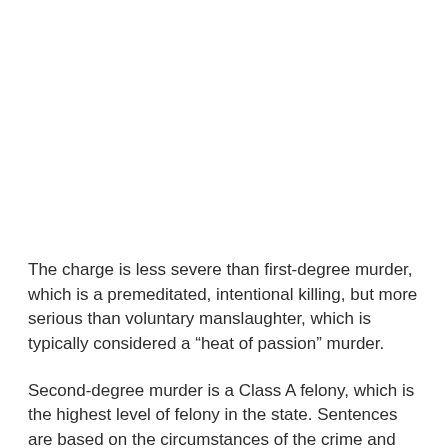The charge is less severe than first-degree murder, which is a premeditated, intentional killing, but more serious than voluntary manslaughter, which is typically considered a “heat of passion” murder.
Second-degree murder is a Class A felony, which is the highest level of felony in the state. Sentences are based on the circumstances of the crime and can range 10-30 years or